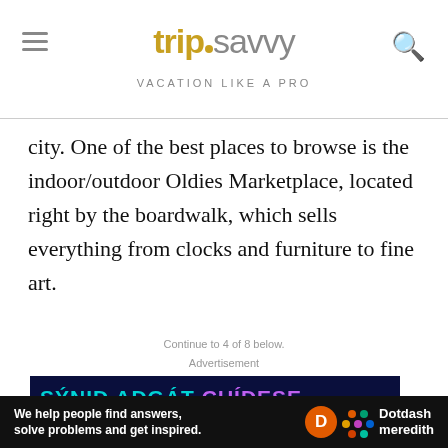tripsavvy VACATION LIKE A PRO
city. One of the best places to browse is the indoor/outdoor Oldies Marketplace, located right by the boardwalk, which sells everything from clocks and furniture to fine art.
Continue to 4 of 8 below.
Advertisement
[Figure (other): Advertisement banner with multilingual 'BE SAFE' message in colorful text on dark blue background: SÝNIÐ AÐGÁT CUÍDESE / ZACHOWAJ BEZPIECZEŃSTWO / VAR FÖRSIKTIG 안전에 유의하세요 / BE SAFE]
We help people find answers, solve problems and get inspired. Dotdash meredith